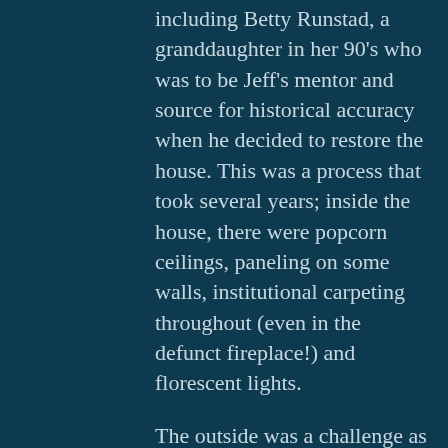including Betty Runstad, a granddaughter in her 90's who was to be Jeff's mentor and source for historical accuracy when he decided to restore the house. This was a process that took several years; inside the house, there were popcorn ceilings, paneling on some walls, institutional carpeting throughout (even in the defunct fireplace!) and florescent lights.
The outside was a challenge as well; aluminum siding has been installed in the 60's and the original ornamental pediments on the windows removed. The chimney had been knocked down, thus the defunct fireplace now painted silver inside